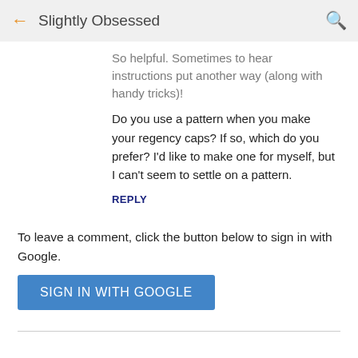← Slightly Obsessed 🔍
So helpful. Sometimes to hear instructions put another way (along with handy tricks)!
Do you use a pattern when you make your regency caps? If so, which do you prefer? I'd like to make one for myself, but I can't seem to settle on a pattern.
REPLY
To leave a comment, click the button below to sign in with Google.
[Figure (other): Blue button labeled SIGN IN WITH GOOGLE]
Popular Posts